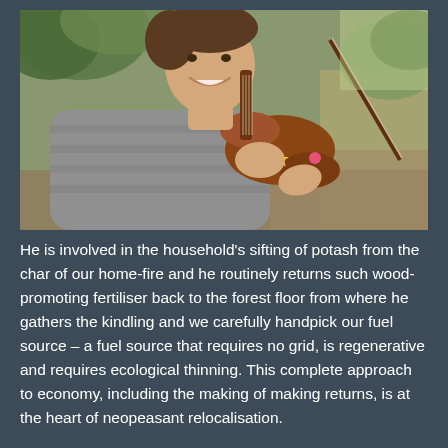[Figure (photo): A young boy smiling and playing a violin outdoors. He is wearing a grey striped long-sleeve shirt and holding a wooden violin with a yellow dot sticker and a pink sticker on the body. The background shows green foliage and a garden/outdoor setting.]
He is involved in the household's sifting of potash from the char of our home-fire and he routinely returns such wood-promoting fertiliser back to the forest floor from where he gathers the kindling and we carefully handpick our fuel source – a fuel source that requires no grid, is regenerative and requires ecological thinning. This complete approach to economy, including the making of making returns, is at the heart of neopeasant relocalisation.